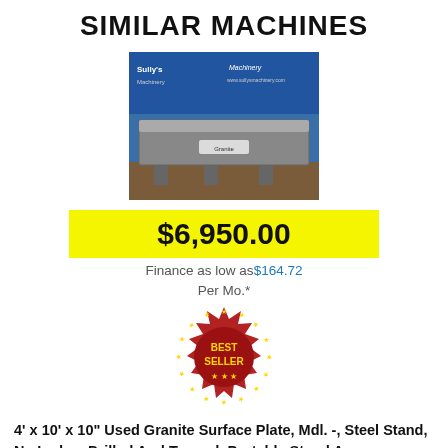SIMILAR MACHINES
[Figure (photo): Photo of a granite surface plate on a steel stand, shown against a blue banner background with dealer branding.]
$6,950.00
Finance as low as $164.72 Per Mo.*
[Figure (illustration): Red and gold 'BEST SELLER' badge/seal with star border.]
4' x 10' x 10" Used Granite Surface Plate, Mdl. -, Steel Stand, No Ledge, Drilled And Tapped, Portable Stand An...
| Field | Value |
| --- | --- |
| Stock No: | #A6955 |
| Capacity: | 4' x 10' x 10" |
| Category: | Surface Plates |